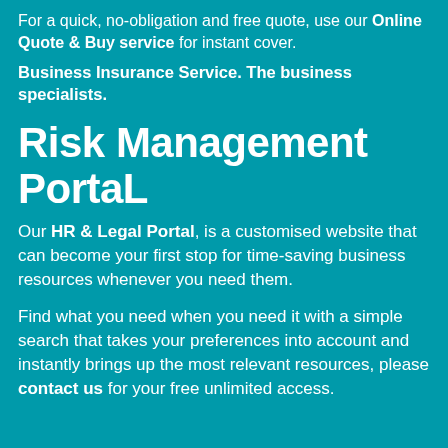For a quick, no-obligation and free quote, use our Online Quote & Buy service for instant cover.
Business Insurance Service. The business specialists.
Risk Management PortaL
Our HR & Legal Portal, is a customised website that can become your first stop for time-saving business resources whenever you need them.
Find what you need when you need it with a simple search that takes your preferences into account and instantly brings up the most relevant resources, please contact us for your free unlimited access.